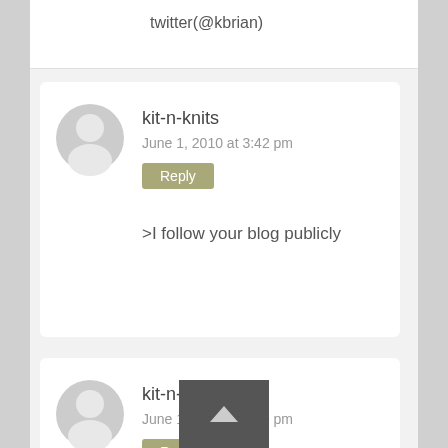twitter(@kbrian)
[Figure (illustration): Default user avatar: circular grey background with white silhouette head and shoulders]
kit-n-knits
June 1, 2010 at 3:42 pm
Reply
>I follow your blog publicly
[Figure (illustration): Default user avatar: circular grey background with white silhouette head and shoulders]
kit-n-knits
June 1, 2010 at 3:39 pm
Reply
>A good friend of mine got the Planet Wise Medium